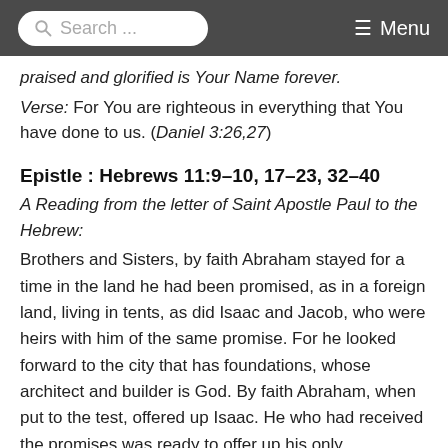Search ... Menu
praised and glorified is Your Name forever.
Verse: For You are righteous in everything that You have done to us. (Daniel 3:26,27)
Epistle : Hebrews 11:9–10, 17–23, 32–40
A Reading from the letter of Saint Apostle Paul to the Hebrew:
Brothers and Sisters, by faith Abraham stayed for a time in the land he had been promised, as in a foreign land, living in tents, as did Isaac and Jacob, who were heirs with him of the same promise. For he looked forward to the city that has foundations, whose architect and builder is God. By faith Abraham, when put to the test, offered up Isaac. He who had received the promises was ready to offer up his only